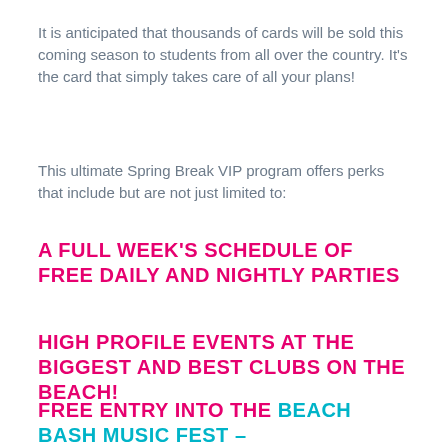It is anticipated that thousands of cards will be sold this coming season to students from all over the country. It's the card that simply takes care of all your plans!
This ultimate Spring Break VIP program offers perks that include but are not just limited to:
A FULL WEEK'S SCHEDULE OF FREE DAILY AND NIGHTLY PARTIES
HIGH PROFILE EVENTS AT THE BIGGEST AND BEST CLUBS ON THE BEACH!
FREE ENTRY INTO THE BEACH BASH MUSIC FEST – SPRING BREAK'S BIGGEST DAYTIME EVENT!